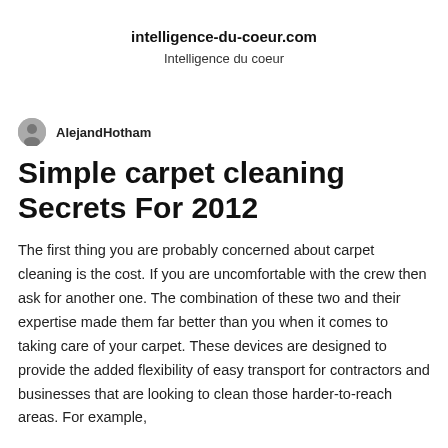intelligence-du-coeur.com
Intelligence du coeur
AlejandHotham
Simple carpet cleaning Secrets For 2012
The first thing you are probably concerned about carpet cleaning is the cost. If you are uncomfortable with the crew then ask for another one. The combination of these two and their expertise made them far better than you when it comes to taking care of your carpet. These devices are designed to provide the added flexibility of easy transport for contractors and businesses that are looking to clean those harder-to-reach areas. For example,